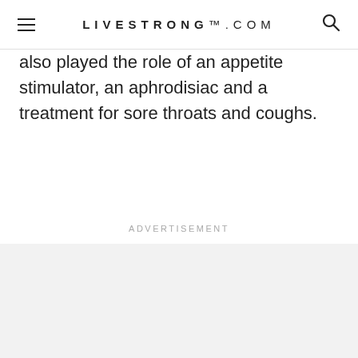LIVESTRONG.COM
also played the role of an appetite stimulator, an aphrodisiac and a treatment for sore throats and coughs.
Advertisement
[Figure (other): Advertisement placeholder area with light gray background]